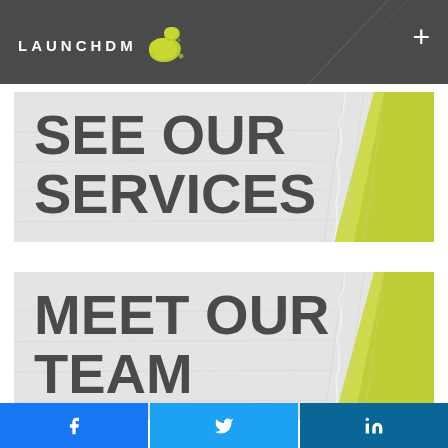LAUNCHDM
[Figure (logo): LaunchDM logo with green paint splatter blob and white text on dark gray header bar]
SEE OUR SERVICES
MEET OUR TEAM
[Figure (infographic): Three social share buttons: Facebook (blue), Twitter (light blue), LinkedIn (dark blue) with respective icons]